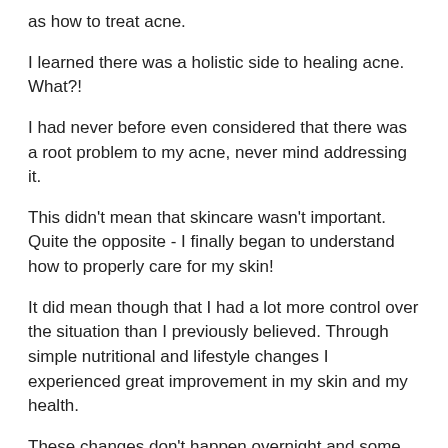as how to treat acne.
I learned there was a holistic side to healing acne. What?!
I had never before even considered that there was a root problem to my acne, never mind addressing it.
This didn't mean that skincare wasn't important. Quite the opposite - I finally began to understand how to properly care for my skin!
It did mean though that I had a lot more control over the situation than I previously believed. Through simple nutritional and lifestyle changes I experienced great improvement in my skin and my health.
These changes don't happen overnight and some people (while well intentioned) simply say the wrong things. These are some questions you may receive (I know I did!):
Shouldn't your skin be completely clear with all the dietary